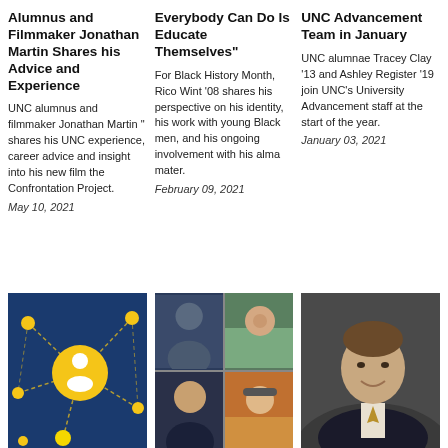Alumnus and Filmmaker Jonathan Martin Shares his Advice and Experience
UNC alumnus and filmmaker Jonathan Martin " shares his UNC experience, career advice and insight into his new film the Confrontation Project.
May 10, 2021
Everybody Can Do Is Educate Themselves"
For Black History Month, Rico Wint '08 shares his perspective on his identity, his work with young Black men, and his ongoing involvement with his alma mater.
February 09, 2021
UNC Advancement Team in January
UNC alumnae Tracey Clay '13 and Ashley Register '19 join UNC's University Advancement staff at the start of the year.
January 03, 2021
[Figure (illustration): Network graphic with navy blue background, yellow nodes connected by dashed lines, and a central white person icon in a yellow circle]
[Figure (photo): Collage of four people in video call grid format]
[Figure (photo): Portrait photo of a man in a dark suit jacket against a dark grey background]